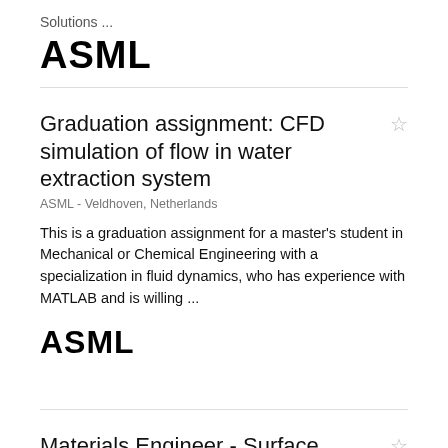Solutions ...
[Figure (logo): ASML logo in bold black text]
Graduation assignment: CFD simulation of flow in water extraction system
ASML - Veldhoven, Netherlands
This is a graduation assignment for a master's student in Mechanical or Chemical Engineering with a specialization in fluid dynamics, who has experience with MATLAB and is willing ...
[Figure (logo): ASML logo in bold black text]
Materials Engineer - Surface Chemistry